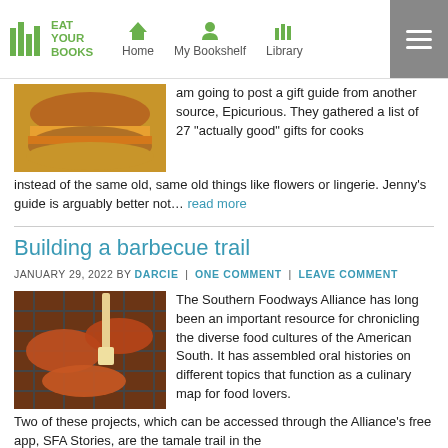Eat Your Books — Home | My Bookshelf | Library
am going to post a gift guide from another source, Epicurious. They gathered a list of 27 "actually good" gifts for cooks instead of the same old, same old things like flowers or lingerie. Jenny's guide is arguably better not… read more
Building a barbecue trail
JANUARY 29, 2022 BY DARCIE | ONE COMMENT | LEAVE COMMENT
The Southern Foodways Alliance has long been an important resource for chronicling the diverse food cultures of the American South. It has assembled oral histories on different topics that function as a culinary map for food lovers. Two of these projects, which can be accessed through the Alliance's free app, SFA Stories, are the tamale trail in the